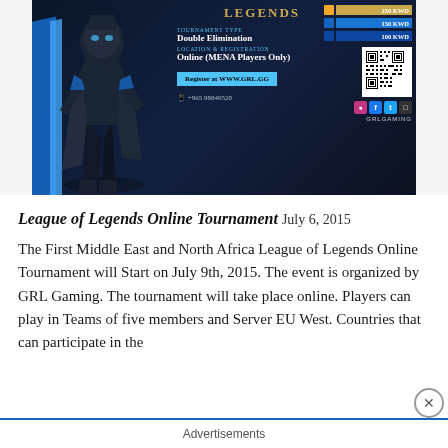[Figure (photo): League of Legends Online Tournament promotional banner showing a game character silhouette on the left with blue diagonal accents, tournament info in the center (Tournament Type: Double Elimination, Location & Registration: Online (MENA Players Only), Register at WWW.GRL.GG, phone +965 98849528), prize bars on the right (250 KWD, 150 KWD, 100 KWD), a QR code, and social media icons with GRLGAMING branding.]
League of Legends Online Tournament
July 6, 2015
The First Middle East and North Africa League of Legends Online Tournament will Start on July 9th, 2015. The event is organized by GRL Gaming. The tournament will take place online. Players can play in Teams of five members and Server EU West. Countries that can participate in the
Advertisements